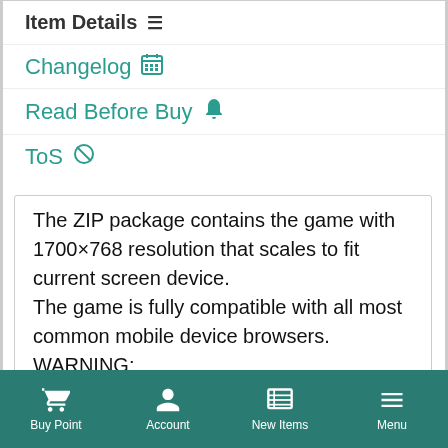Item Details ≡
Changelog 📅
Read Before Buy 🔔
ToS 🚫
The ZIP package contains the game with 1700×768 resolution that scales to fit current screen device.
The game is fully compatible with all most common mobile device browsers.
WARNING:

Sounds are enabled for mobile but we can't
Buy Point  Account  New Items  Menu